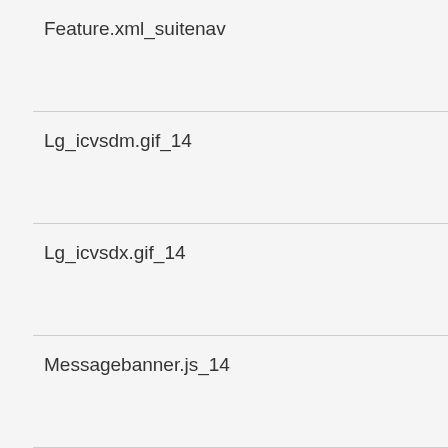Feature.xml_suitenav
Lg_icvsdm.gif_14
Lg_icvsdx.gif_14
Messagebanner.js_14
Messagebanner.js